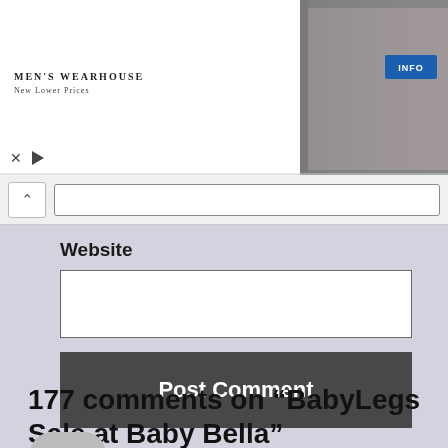[Figure (screenshot): Men's Wearhouse advertisement banner showing a couple in formal wear and a man in a tuxedo, with an INFO button and ad controls (X and play icons).]
[Figure (screenshot): Browser address bar with back/collapse button and URL input field.]
Website
[Figure (screenshot): Website text input field (empty).]
Post Comment
177 comments on “BabyLegs Sale at Baby Bella”
[Figure (photo): Partial user avatar (gray circle top half) at bottom of page.]